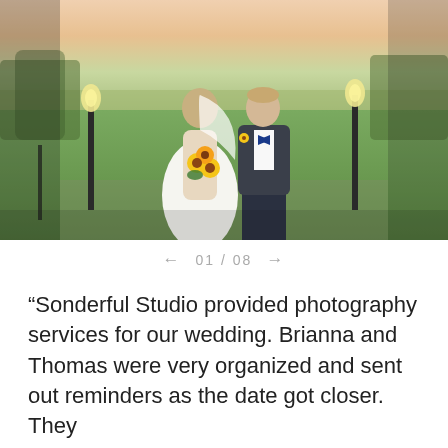[Figure (photo): Wedding photo of a bride in a white dress holding a sunflower bouquet and a groom in a dark suit with a bow tie, standing outdoors on a terrace with green landscape and warm sunset sky in the background, with lamp posts on either side.]
← 01 / 08 →
“Sonderful Studio provided photography services for our wedding. Brianna and Thomas were very organized and sent out reminders as the date got closer. They